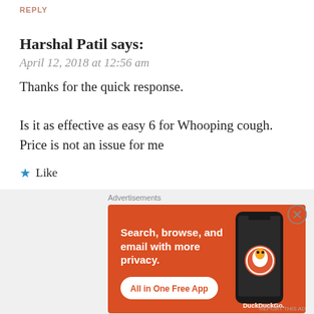REPLY
Harshal Patil says:
April 12, 2018 at 12:56 am
Thanks for the quick response.

Is it as effective as easy 6 for Whooping cough.
Price is not an issue for me
★ Like
Gauri Kshirsagar says:
April 12, 2018 at 1:36 pm
[Figure (screenshot): DuckDuckGo advertisement banner: orange background with text 'Search, browse, and email with more privacy. All in One Free App' and DuckDuckGo logo with phone image.]